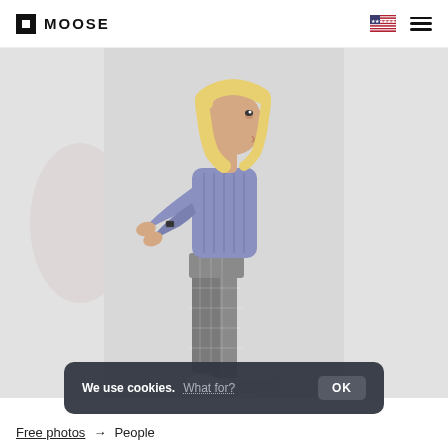MOOSE
[Figure (photo): A blond woman in a lavender/periwinkle cable-knit sweater and grey plaid trousers, standing in profile facing right with hands outstretched, photographed against a light grey background with watermark diamonds. The image is centered with lighter grey bleed areas on left and right.]
We use cookies. What for? OK
Free photos → People